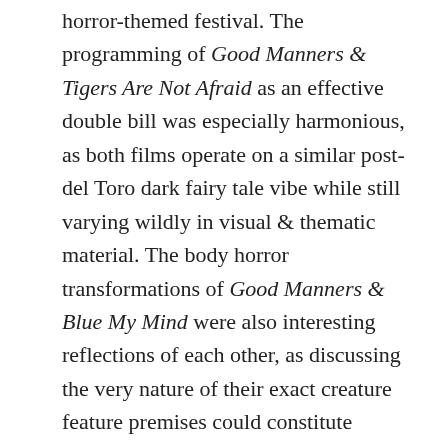horror-themed festival. The programming of Good Manners & Tigers Are Not Afraid as an effective double bill was especially harmonious, as both films operate on a similar post-del Toro dark fairy tale vibe while still varying wildly in visual & thematic material. The body horror transformations of Good Manners & Blue My Mind were also interesting reflections of each other, as discussing the very nature of their exact creature feature premises could constitute spoilers given their patient reveals (even though seasoned audiences know what monsters to expect long before they arrive). It was an incredibly small sampling of the two dozen features that screened at the festival, but I could not be happier with the titles I saw. At the very least, I expect to be evangelizing for Good Manners as one of the Top Films of 2018 for the remainder of the year.